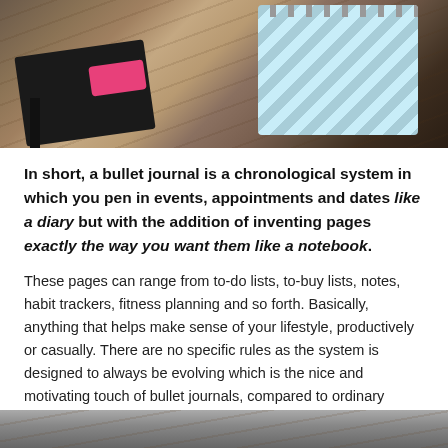[Figure (photo): Overhead photo of notebooks, a black journal, a pink eraser/highlighter, and a teal chevron-patterned spiral notebook on a wooden surface]
In short, a bullet journal is a chronological system in which you pen in events, appointments and dates like a diary but with the addition of inventing pages exactly the way you want them like a notebook.
These pages can range from to-do lists, to-buy lists, notes, habit trackers, fitness planning and so forth. Basically, anything that helps make sense of your lifestyle, productively or casually. There are no specific rules as the system is designed to always be evolving which is the nice and motivating touch of bullet journals, compared to ordinary diaries which are very linear.
[Figure (photo): Partial photo visible at the bottom of the page, appears to be another desk/journal scene]